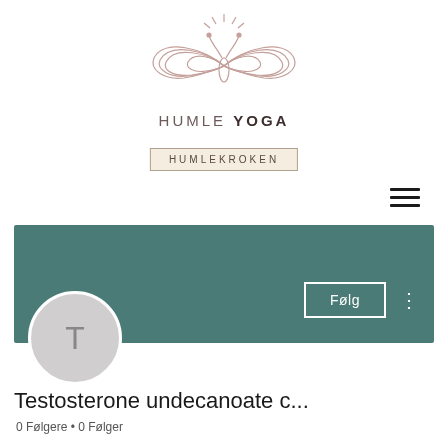[Figure (logo): Humle Yoga butterfly/moth logo in rose/mauve line art with radiating lines above]
HUMLE YOGA
HUMLEKROKEN
[Figure (infographic): Hamburger menu icon (three horizontal lines)]
[Figure (screenshot): Teal/dark green profile banner with Følg (Follow) button and three-dot menu]
[Figure (illustration): Circular grey avatar with letter T]
Testosterone undecanoate c...
0 Følgere • 0 Følger